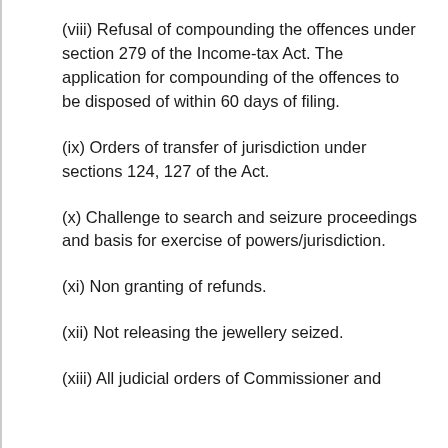(viii) Refusal of compounding the offences under section 279 of the Income-tax Act. The application for compounding of the offences to be disposed of within 60 days of filing.
(ix) Orders of transfer of jurisdiction under sections 124, 127 of the Act.
(x) Challenge to search and seizure proceedings and basis for exercise of powers/jurisdiction.
(xi) Non granting of refunds.
(xii) Not releasing the jewellery seized.
(xiii) All judicial orders of Commissioner and